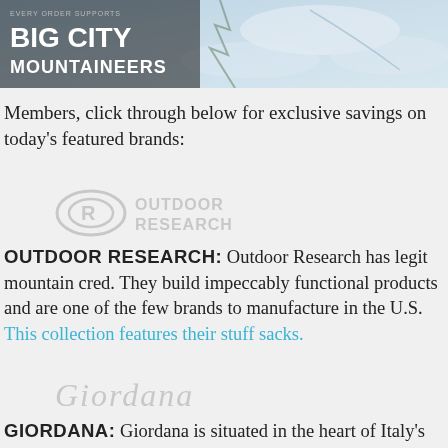[Figure (photo): Banner image showing snowy mountain scene with Big City Mountaineers logo and text 'EVERY ORDER SUPPORTS BIG CITY MOUNTAINEERS' overlaid on left side]
Members, click through below for exclusive savings on today's featured brands:
[Figure (logo): Outdoor Research logo in light gray — circular OR icon followed by OUTDOOR RESEARCH text]
OUTDOOR RESEARCH: Outdoor Research has legit mountain cred. They build impeccably functional products and are one of the few brands to manufacture in the U.S. This collection features their stuff sacks.
[Figure (logo): Giordana logo in light gray italic script lettering]
GIORDANA: Giordana is situated in the heart of Italy's